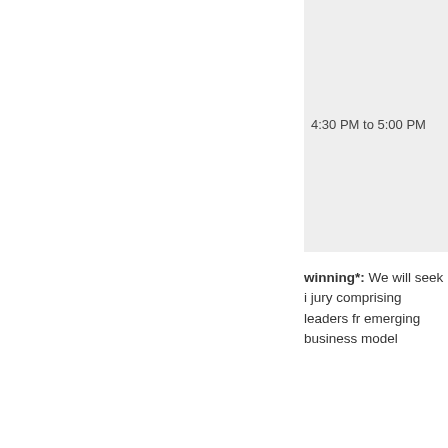4:30 PM to 5:00 PM
winning*: We will seek i jury comprising leaders fr emerging business model